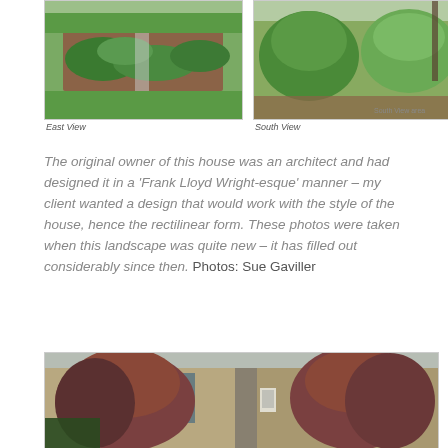[Figure (photo): East View photo of a garden/landscape with low shrubs and mulch beds on green lawn]
East View
[Figure (photo): South View photo of garden with leafy shrubs and trees]
South View
The original owner of this house was an architect and had designed it in a 'Frank Lloyd Wright-esque' manner – my client wanted a design that would work with the style of the house, hence the rectilinear form. These photos were taken when this landscape was quite new – it has filled out considerably since then. Photos: Sue Gaviller
[Figure (photo): Large photo of red-leafed trees in front of a Frank Lloyd Wright-esque style building with stone columns and large windows]